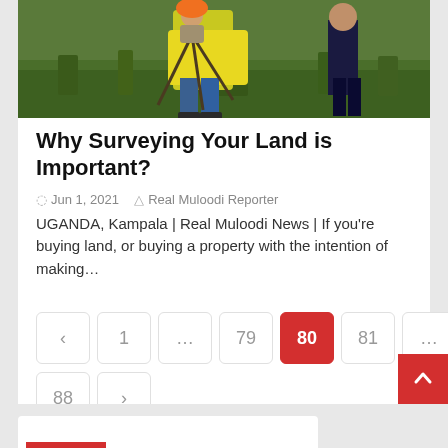[Figure (photo): Surveyor in yellow high-visibility vest using surveying equipment in a grassy outdoor area]
Why Surveying Your Land is Important?
Jun 1, 2021  Real Muloodi Reporter
UGANDA, Kampala | Real Muloodi News | If you're buying land, or buying a property with the intention of making…
Pagination: < 1 … 79 80 81 … 88 >